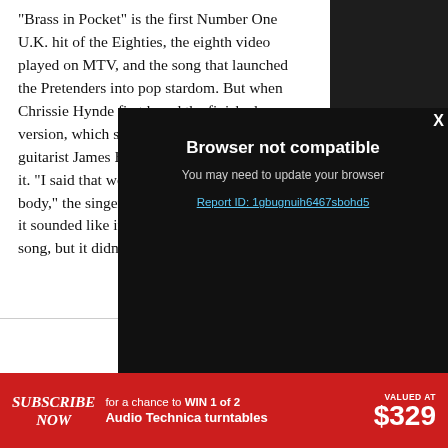“Brass in Pocket” is the first Number One U.K. hit of the Eighties, the eighth video played on MTV, and the song that launched the Pretenders into pop stardom. But when Chrissie Hynde first heard the finished version, which she was built around a riff by guitarist James Honeymoon-Scott, she hated it. “I said that would go out over my dead body,” the singer recalled in 2020. “I thought it sounded like it was trying to be a Motown song, but it didn’t— … because it’s one o…
[Figure (screenshot): Browser not compatible modal dialog overlay on dark background. Shows title 'Browser not compatible', subtitle 'You may need to update your browser', and a link 'Report ID: 1gbugnuih6467sbohd5'. A close X button appears in the top right corner.]
[Figure (screenshot): Red advertisement banner at the bottom: 'SUBSCRIBE NOW for a chance to WIN 1 of 2 Audio Technica turntables VALUED AT $329']